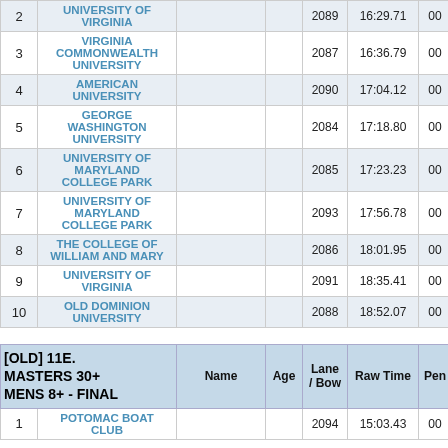| Place | Team | Name | Age | Lane / Bow | Raw Time | Pen |
| --- | --- | --- | --- | --- | --- | --- |
| 2 | UNIVERSITY OF VIRGINIA |  |  | 2089 | 16:29.71 | 00 |
| 3 | VIRGINIA COMMONWEALTH UNIVERSITY |  |  | 2087 | 16:36.79 | 00 |
| 4 | AMERICAN UNIVERSITY |  |  | 2090 | 17:04.12 | 00 |
| 5 | GEORGE WASHINGTON UNIVERSITY |  |  | 2084 | 17:18.80 | 00 |
| 6 | UNIVERSITY OF MARYLAND COLLEGE PARK |  |  | 2085 | 17:23.23 | 00 |
| 7 | UNIVERSITY OF MARYLAND COLLEGE PARK |  |  | 2093 | 17:56.78 | 00 |
| 8 | THE COLLEGE OF WILLIAM AND MARY |  |  | 2086 | 18:01.95 | 00 |
| 9 | UNIVERSITY OF VIRGINIA |  |  | 2091 | 18:35.41 | 00 |
| 10 | OLD DOMINION UNIVERSITY |  |  | 2088 | 18:52.07 | 00 |
[OLD] 11E. MASTERS 30+ MENS 8+ - FINAL
| Place | Team | Name | Age | Lane / Bow | Raw Time | Pen |
| --- | --- | --- | --- | --- | --- | --- |
| 1 | POTOMAC BOAT CLUB |  |  | 2094 | 15:03.43 | 00 |